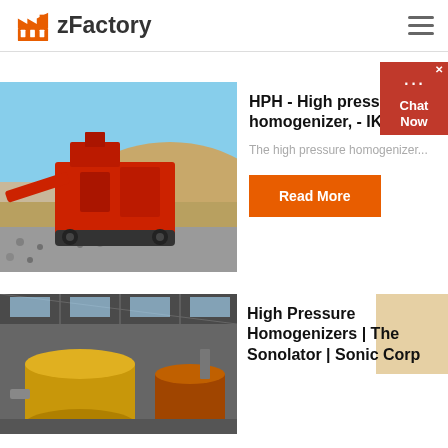zFactory
[Figure (photo): Red industrial crushing/mining machine on a gravel/stone site with sandy terrain and blue sky background]
HPH - High press. homogenizer, - IKA
The high pressure homogenizer...
Read More
[Figure (photo): Industrial factory interior with large yellow cylindrical machinery and steel structure roof]
High Pressure Homogenizers | The Sonolator | Sonic Corp